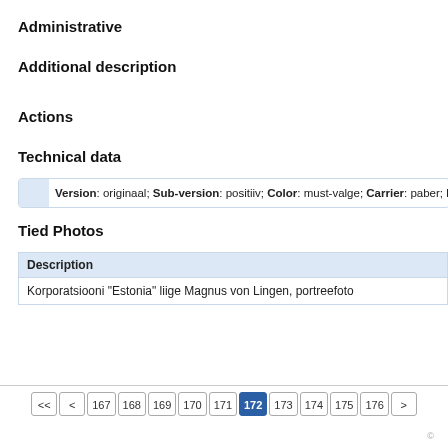Administrative
Additional description
Actions
Technical data
Version: originaal; Sub-version: positiiv; Color: must-valge; Carrier: paber; Frame
Tied Photos
| Description |
| --- |
| Korporatsiooni "Estonia" liige Magnus von Lingen, portreefoto |
<<  <  167  168  169  170  171  172  173  174  175  176  >